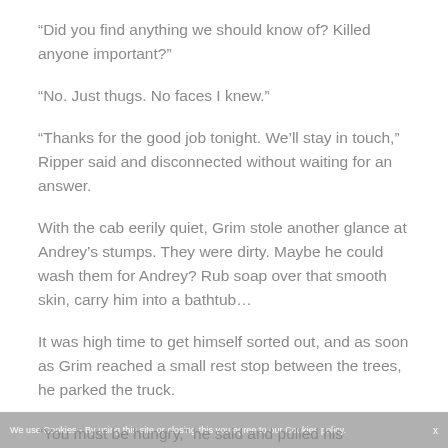“Did you find anything we should know of? Killed anyone important?”
“No. Just thugs. No faces I knew.”
“Thanks for the good job tonight. We’ll stay in touch,” Ripper said and disconnected without waiting for an answer.
With the cab eerily quiet, Grim stole another glance at Andrey’s stumps. They were dirty. Maybe he could wash them for Andrey? Rub soap over that smooth skin, carry him into a bathtub…
It was high time to get himself sorted out, and as soon as Grim reached a small rest stop between the trees, he parked the truck.
We use Cookies - By using this site or closing this you agree to our Cookies policy.    x
You must be hungry,” he said and pulled his